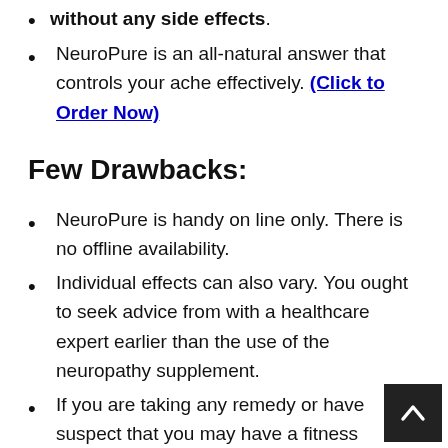without any side effects.
NeuroPure is an all-natural answer that controls your ache effectively. (Click to Order Now)
Few Drawbacks:
NeuroPure is handy on line only. There is no offline availability.
Individual effects can also vary. You ought to seek advice from with a healthcare expert earlier than the use of the neuropathy supplement.
If you are taking any remedy or have suspect that you may have a fitness